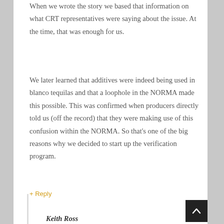When we wrote the story we based that information on what CRT representatives were saying about the issue. At the time, that was enough for us.
We later learned that additives were indeed being used in blanco tequilas and that a loophole in the NORMA made this possible. This was confirmed when producers directly told us (off the record) that they were making use of this confusion within the NORMA. So that's one of the big reasons why we decided to start up the verification program.
+ Reply
Keith Ross